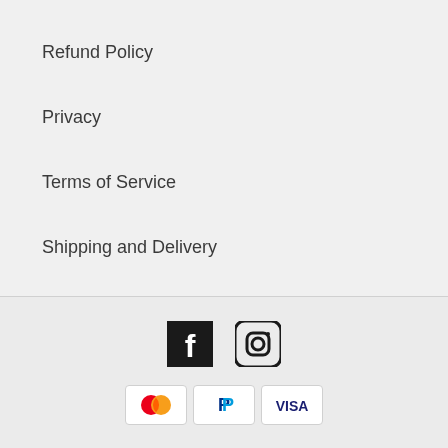Refund Policy
Privacy
Terms of Service
Shipping and Delivery
[Figure (logo): Facebook logo icon (white f on black square) and Instagram logo icon (camera outline in dark circle)]
[Figure (logo): Payment method icons: Mastercard (red and orange overlapping circles), PayPal (blue P on white), Visa (blue text on white)]